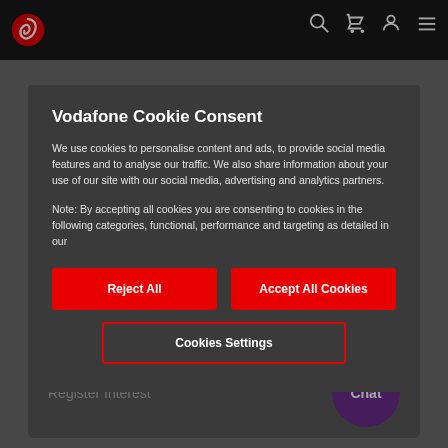[Figure (screenshot): Vodafone website navigation bar with logo and icons]
Vodafone Cookie Consent
We use cookies to personalise content and ads, to provide social media features and to analyse our traffic. We also share information about your use of our site with our social media, advertising and analytics partners.
Note: By accepting all cookies you are consenting to cookies in the following categories, functional, performance and targeting as detailed in our
Reject All
Accept All Cookies
Cookies Settings
Register Interest
Chat